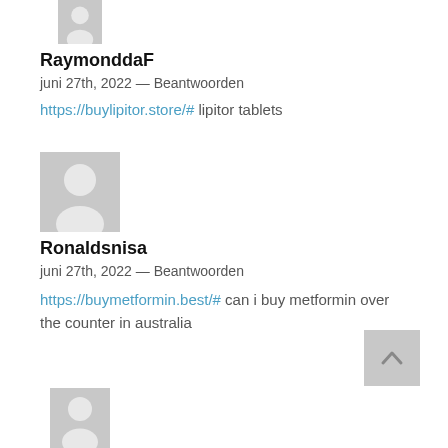[Figure (illustration): Gray avatar placeholder icon showing a person silhouette, partially visible at top]
RaymonddaF
juni 27th, 2022 — Beantwoorden
https://buylipitor.store/# lipitor tablets
[Figure (illustration): Gray avatar placeholder icon showing a person silhouette]
Ronaldsnisa
juni 27th, 2022 — Beantwoorden
https://buymetformin.best/# can i buy metformin over the counter in australia
[Figure (illustration): Gray avatar placeholder icon showing a person silhouette, partially visible at bottom]
[Figure (other): Back to top button — gray square with upward chevron arrow]